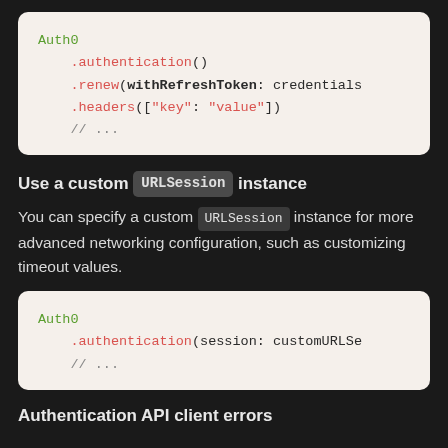[Figure (screenshot): Code block showing Auth0 Swift SDK usage with .authentication(), .renew(withRefreshToken: credentials), .headers(["key": "value"]), // ...]
Use a custom URLSession instance
You can specify a custom URLSession instance for more advanced networking configuration, such as customizing timeout values.
[Figure (screenshot): Code block showing Auth0 Swift SDK usage with .authentication(session: customURLSe...), // ...]
Authentication API client errors